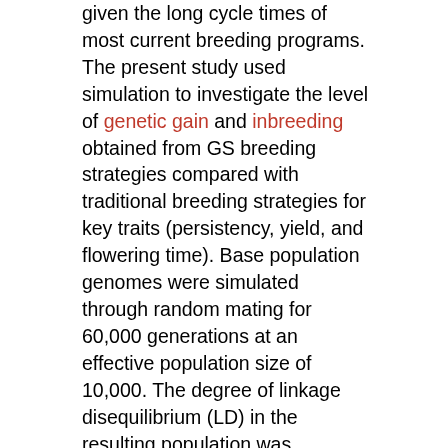given the long cycle times of most current breeding programs. The present study used simulation to investigate the level of genetic gain and inbreeding obtained from GS breeding strategies compared with traditional breeding strategies for key traits (persistency, yield, and flowering time). Base population genomes were simulated through random mating for 60,000 generations at an effective population size of 10,000. The degree of linkage disequilibrium (LD) in the resulting population was compared with that obtained from empirical studies. Initial parental varieties were simulated to match diversity of current commercial cultivars. Genomic selection was designed to fit into a company breeding program at two selection points in the breeding cycle (spaced plants and miniplot). Genomic estimated breeding values (GEBVs) for productivity traits were trained with phenotypes and genotypes from plots. Accuracy of GEBVs was 0.24 for persistency and 0.36 for yield for single plants, while for plots it was lower (0.17 and 0.19, respectively). Higher accuracy of GEBVs was obtained for flowering time (up to 0.7), partially as a result of the larger reference population size that was available from the clonal row stage. The availability of GEBVs permit a 4-yr reduction in cycle time, which led to at least a doubling and trebling genetic gain for persistency and yield, respectively, than the traditional program. However, a higher